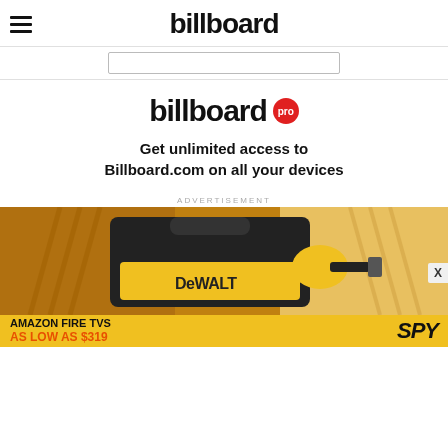billboard
[Figure (other): Search bar input field with border]
[Figure (logo): billboard pro logo with red circular PRO badge]
Get unlimited access to Billboard.com on all your devices
ADVERTISEMENT
[Figure (photo): DeWalt tool bag and drill advertisement on yellow-orange background]
[Figure (infographic): Amazon Fire TVs As Low As $319 SPY advertisement banner]